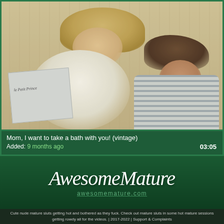[Figure (photo): Vintage film screenshot showing a woman with blonde hair in a white shirt reading a book (Le Petit Prince) with a dark-haired child lying beside her]
Mom, I want to take a bath with you! (vintage)
Added: 9 months ago
03:05
[Figure (logo): AwesomeMature logo in white italic script font on dark green background with awesomemature.com URL below]
Cute nude mature sluts getting hot and bothered as they fuck. Check out mature sluts in some hot mature sessions getting rowdy all for the videos. | 2017-2022 | Support & Complaints